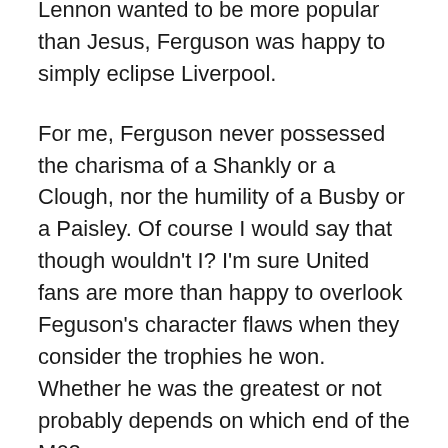Lennon wanted to be more popular than Jesus, Ferguson was happy to simply eclipse Liverpool.
For me, Ferguson never possessed the charisma of a Shankly or a Clough, nor the humility of a Busby or a Paisley. Of course I would say that though wouldn't I? I'm sure United fans are more than happy to overlook Feguson's character flaws when they consider the trophies he won. Whether he was the greatest or not probably depends on which end of the M62 you are on.
If I'm forced to make daft comparisons with musicians, I'd have to conclude that he has never possessed the charisma of a Lennon, or the humility of a Harrison. Is he a McCartney or a Starr though? No, they don't fit either.
Actually I'd have to call him the Jagger of football. A strutting, pouting, posing and ultimately successful front